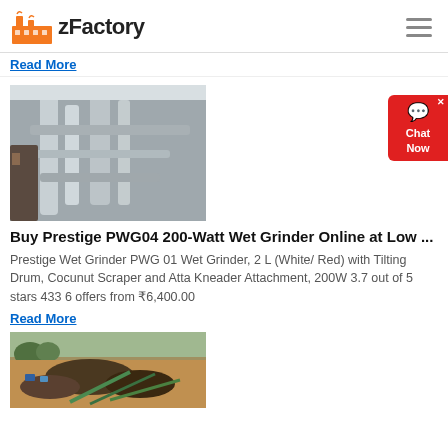zFactory
Read More
[Figure (photo): Industrial machinery with pipes and ducts in a factory setting]
Buy Prestige PWG04 200-Watt Wet Grinder Online at Low ...
Prestige Wet Grinder PWG 01 Wet Grinder, 2 L (White/ Red) with Tilting Drum, Cocunut Scraper and Atta Kneader Attachment, 200W 3.7 out of 5 stars 433 6 offers from ₹6,400.00
Read More
[Figure (photo): Aerial view of a mining or industrial site with machinery and earth mounds]